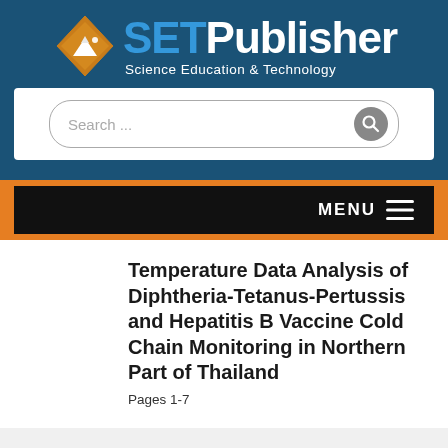[Figure (logo): SET Publisher logo with orange diamond shape containing a white mountain, 'SET' in blue and 'Publisher' in white large text, subtitle 'Science Education & Technology' in white]
[Figure (screenshot): Search bar with rounded border, placeholder text 'Search ...' and a grey circular search icon button]
[Figure (screenshot): Dark navigation menu bar with 'MENU' text and hamburger icon (three lines) on the right, set inside orange outer bar]
Temperature Data Analysis of Diphtheria-Tetanus-Pertussis and Hepatitis B Vaccine Cold Chain Monitoring in Northern Part of Thailand
Pages 1-7